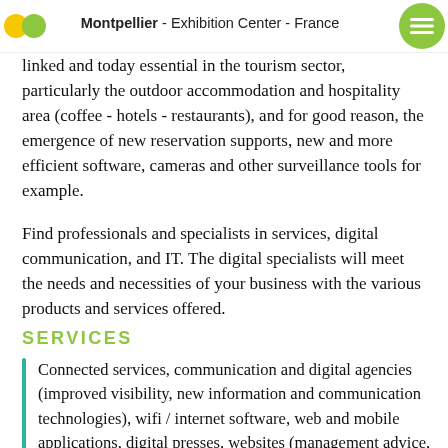Montpellier - Exhibition Center - France
linked and today essential in the tourism sector, particularly the outdoor accommodation and hospitality area (coffee - hotels - restaurants), and for good reason, the emergence of new reservation supports, new and more efficient software, cameras and other surveillance tools for example.
Find professionals and specialists in services, digital communication, and IT. The digital specialists will meet the needs and necessities of your business with the various products and services offered.
SERVICES
Connected services, communication and digital agencies (improved visibility, new information and communication technologies), wifi / internet software, web and mobile applications, digital presses, websites (management advice, visibility, …)